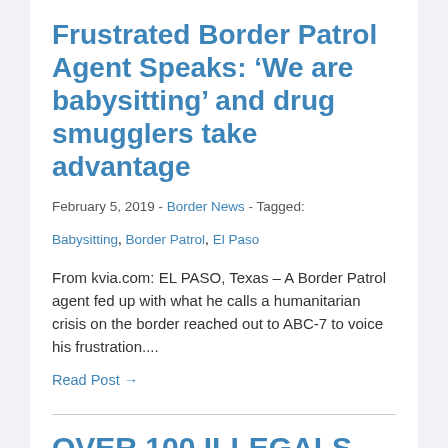Frustrated Border Patrol Agent Speaks: ‘We are babysitting’ and drug smugglers take advantage
February 5, 2019  -  Border News  -  Tagged: Babysitting, Border Patrol, El Paso
From kvia.com: EL PASO, Texas – A Border Patrol agent fed up with what he calls a humanitarian crisis on the border reached out to ABC-7 to voice his frustration....
Read Post →
OVER 100 ILLEGALS TEAR GASSED BY BORDER PATROL AFTER